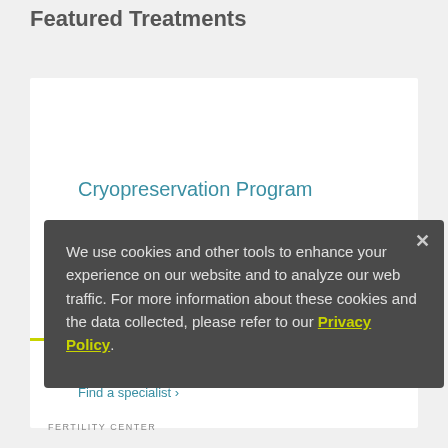Featured Treatments
Cryopreservation Program
The Massachusetts General Hospital Fertility Center's Cryopreservation Program offers the latest assisted reproductive technology (ART), including cryopreservation in a highly individualized, private setting.
Request an appointment ›
Find a specialist ›
FERTILITY CENTER
We use cookies and other tools to enhance your experience on our website and to analyze our web traffic. For more information about these cookies and the data collected, please refer to our Privacy Policy.